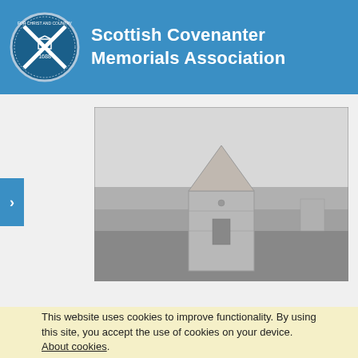Scottish Covenanter Memorials Association
[Figure (photo): Black and white photograph of a stone memorial monument with a pyramid/pointed top, set in a moorland landscape]
This website uses cookies to improve functionality. By using this site, you accept the use of cookies on your device. About cookies.